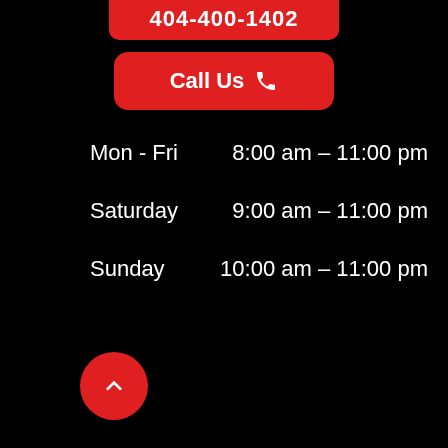404-400-1402
Call Us
Mon - Fri   8:00 am – 11:00 pm
Saturday   9:00 am – 11:00 pm
Sunday   10:00 am – 11:00 pm
[Figure (infographic): Red circular back-to-top button with upward chevron arrow]